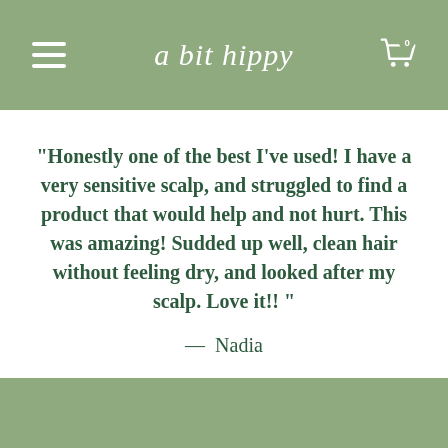a bit hippy
"Honestly one of the best I've used! I have a very sensitive scalp, and struggled to find a product that would help and not hurt. This was amazing! Sudded up well, clean hair without feeling dry, and looked after my scalp. Love it!! "
— Nadia